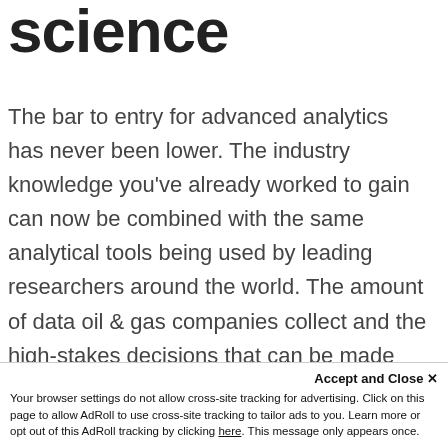science
The bar to entry for advanced analytics has never been lower. The industry knowledge you've already worked to gain can now be combined with the same analytical tools being used by leading researchers around the world. The amount of data oil & gas companies collect and the high-stakes decisions that can be made from it make this industry one of the most exciting for data science and machine learning.
Accept and Close ✕
Your browser settings do not allow cross-site tracking for advertising. Click on this page to allow AdRoll to use cross-site tracking to tailor ads to you. Learn more or opt out of this AdRoll tracking by clicking here. This message only appears once.